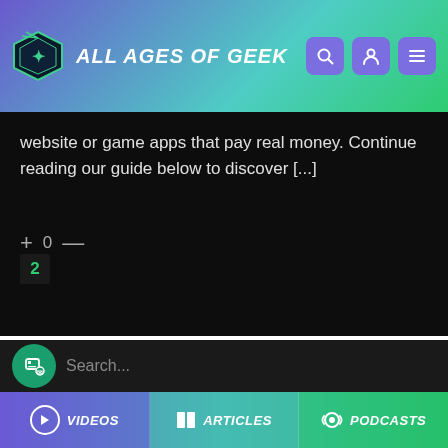ALL AGES OF GEEK
website or game apps that pay real money. Continue reading our guide below to discover [...]
+ 0 —
2
Search...
VIDEOS  ARTICLES  PODCASTS